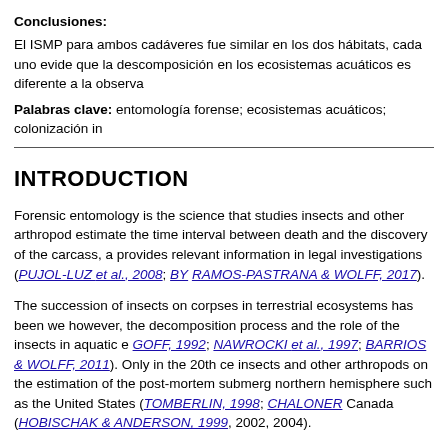Conclusiones:
El ISMP para ambos cadáveres fue similar en los dos hábitats, cada uno evide que la descomposición en los ecosistemas acuáticos es diferente a la observa
Palabras clave: entomología forense; ecosistemas acuáticos; colonización in
INTRODUCTION
Forensic entomology is the science that studies insects and other arthropods to estimate the time interval between death and the discovery of the carcass, and provides relevant information in legal investigations (PUJOL-LUZ et al., 2008; BY RAMOS-PASTRANA & WOLFF, 2017).
The succession of insects on corpses in terrestrial ecosystems has been well studied; however, the decomposition process and the role of the insects in aquatic ecosystems (GOFF, 1992; NAWROCKI et al., 1997; BARRIOS & WOLFF, 2011). Only in the 20th century, insects and other arthropods on the estimation of the post-mortem submergence in northern hemisphere such as the United States (TOMBERLIN, 1998; CHALONER Canada (HOBISCHAK & ANDERSON, 1999, 2002, 2004).
Colonization of a cadaver by aquatic invertebrates depends on abiotic factors such as water, depth and strength of flow, and biotic factors, such as the fauna and flora present or for protection (MERRITT & WALLACE, 2010).